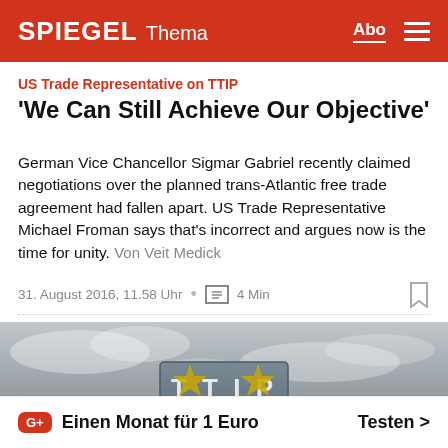SPIEGEL Thema
US Trade Representative on TTIP
'We Can Still Achieve Our Objective'
German Vice Chancellor Sigmar Gabriel recently claimed negotiations over the planned trans-Atlantic free trade agreement had fallen apart. US Trade Representative Michael Froman says that's incorrect and argues now is the time for unity. Von Veit Medick
31. August 2016, 11.58 Uhr • 4 Min
[Figure (photo): TTIP sign against cloudy sky background]
Einen Monat für 1 Euro  Testen >